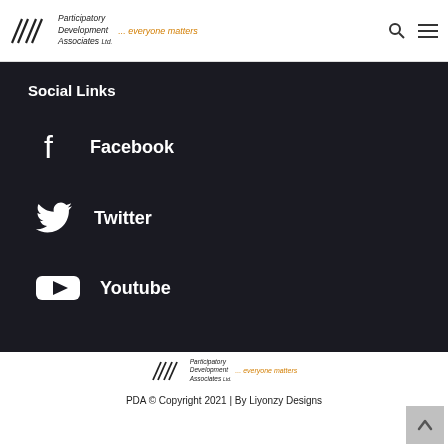Participatory Development Associates Ltd. ... everyone matters
Social Links
Facebook
Twitter
Youtube
PDA © Copyright 2021 | By Liyonzy Designs